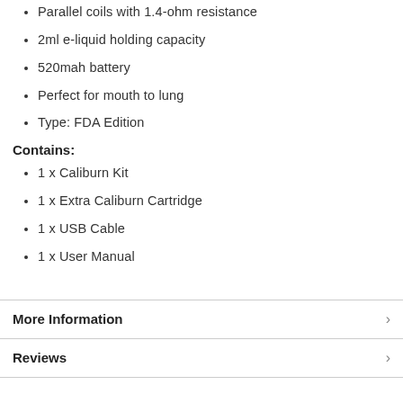Parallel coils with 1.4-ohm resistance
2ml e-liquid holding capacity
520mah battery
Perfect for mouth to lung
Type: FDA Edition
Contains:
1 x Caliburn Kit
1 x Extra Caliburn Cartridge
1 x USB Cable
1 x User Manual
More Information
Reviews